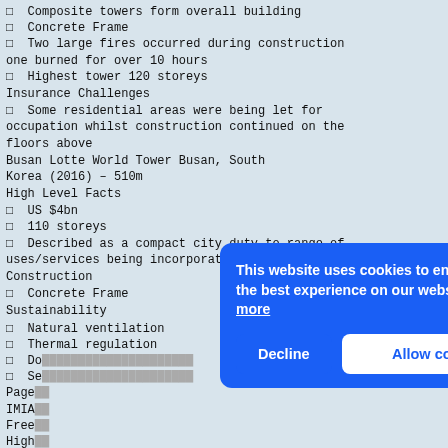□  Composite towers form overall building
□  Concrete Frame
□  Two large fires occurred during construction one burned for over 10 hours
□  Highest tower 120 storeys
Insurance Challenges
□  Some residential areas were being let for occupation whilst construction continued on the floors above
Busan Lotte World Tower Busan, South Korea (2016) – 510m
High Level Facts
□  US $4bn
□  110 storeys
□  Described as a compact city duty to range of uses/services being incorporated
Construction
□  Concrete Frame
Sustainability
□  Natural ventilation
□  Thermal regulation
□  Do[...]
□  Se[...]
Page[...] IMIA[...] Free[...] High[...]
□  US[...]
□  De[...] uses[...]
□  Xe[...] they will be seen up to 20 miles away
Construction
[Figure (screenshot): Cookie consent banner overlay with blue background reading 'This website uses cookies to ensure you get the best experience on our website. Learn more' with Decline and Allow cookies buttons.]